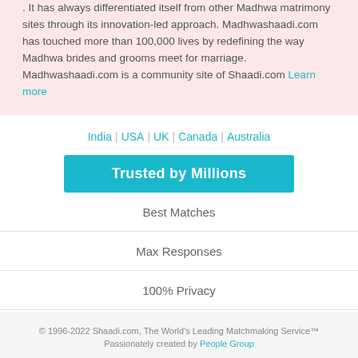. It has always differentiated itself from other Madhwa matrimony sites through its innovation-led approach. Madhwashaadi.com has touched more than 100,000 lives by redefining the way Madhwa brides and grooms meet for marriage. Madhwashaadi.com is a community site of Shaadi.com Learn more
India | USA | UK | Canada | Australia
Trusted by Millions
Best Matches
Max Responses
100% Privacy
© 1996-2022 Shaadi.com, The World's Leading Matchmaking Service™ Passionately created by People Group